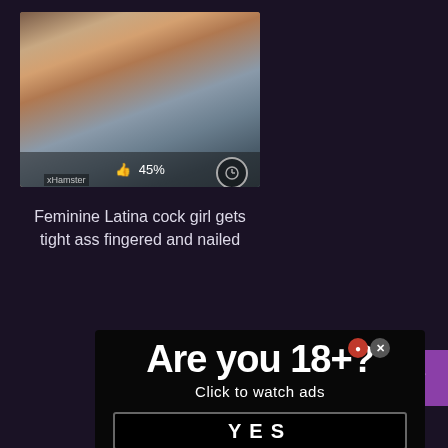[Figure (photo): Thumbnail image of adult video content with like percentage bar showing 45%]
Feminine Latina cock girl gets tight ass fingered and nailed
[Figure (infographic): Advertisement popup with text 'Are you 18+?' and 'Click to watch ads' with YES button and close icons]